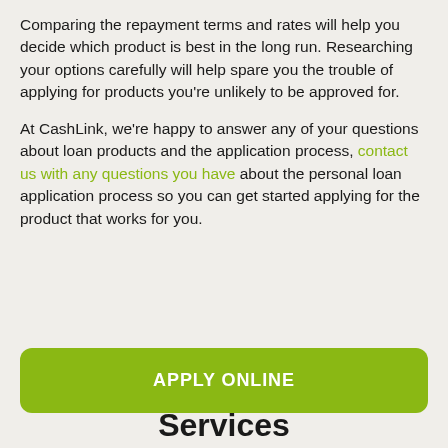Comparing the repayment terms and rates will help you decide which product is best in the long run. Researching your options carefully will help spare you the trouble of applying for products you're unlikely to be approved for.
At CashLink, we're happy to answer any of your questions about loan products and the application process, contact us with any questions you have about the personal loan application process so you can get started applying for the product that works for you.
APPLY ONLINE
Services